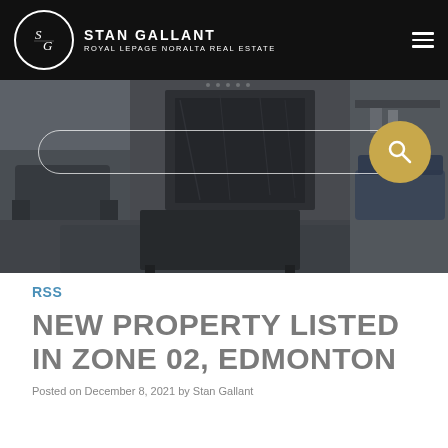STAN GALLANT | ROYAL LEPAGE NORALTA REAL ESTATE
[Figure (photo): Interior living room photo with dark modern furniture, marble fireplace, blue accent pillows, used as hero banner with search bar overlay]
RSS
NEW PROPERTY LISTED IN ZONE 02, EDMONTON
Posted on December 8, 2021 by Stan Gallant